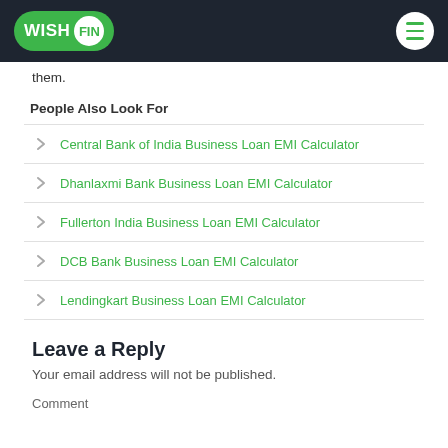WISHFIN
them.
People Also Look For
Central Bank of India Business Loan EMI Calculator
Dhanlaxmi Bank Business Loan EMI Calculator
Fullerton India Business Loan EMI Calculator
DCB Bank Business Loan EMI Calculator
Lendingkart Business Loan EMI Calculator
Leave a Reply
Your email address will not be published.
Comment